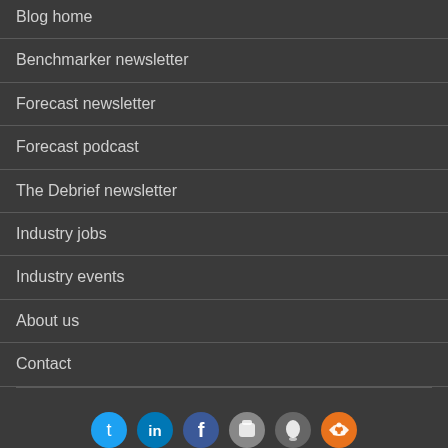Blog home
Benchmarker newsletter
Forecast newsletter
Forecast podcast
The Debrief newsletter
Industry jobs
Industry events
About us
Contact
[Figure (other): Row of social media icons: Twitter, LinkedIn, Facebook, Apple, Android, RSS]